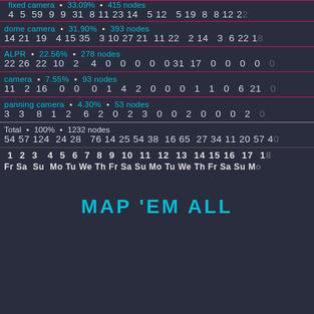fixed camera • 33.09% • 415 nodes
4 5 59 9 9 31 8 11 23 14 5 12 5 19 8 8 12 22
dome camera • 31.90% • 393 nodes
14 21 19 4 15 35 3 10 27 21 11 22 2 14 3 6 22 18
ALPR • 22.56% • 278 nodes
22 26 22 10 2 4 0 0 0 0 0 31 17 0 0 0 0 0
camera • 7.55% • 93 nodes
11 2 16 0 0 0 1 4 2 0 0 0 1 1 0 6 21 0
panning camera • 4.30% • 53 nodes
3 3 8 1 2 6 2 0 2 3 0 0 2 0 0 0 2 0
Total • 100% • 1232 nodes
54 57 124 24 28 76 14 25 54 38 16 65 27 34 11 20 57 40
1 2 3 4 5 6 7 8 9 10 11 12 13 14 15 16 17 18
Fr Sa Su Mo Tu We Th Fr Sa Su Mo Tu We Th Fr Sa Su Mo
MAP 'EM ALL